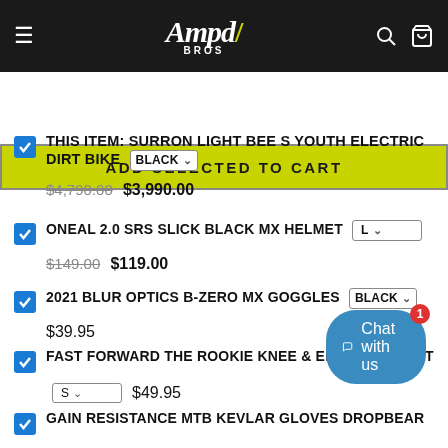[Figure (logo): Ampd Bros logo in white stylized italic script with yellow lightning bolt accent, on black navigation bar with hamburger menu, search and cart icons]
ADD SELECTED TO CART
THIS ITEM: SURRON LIGHT BEE S YOUTH ELECTRIC DIRT BIKE  Black ▾  $4,790.00  $3,990.00
ONEAL 2.0 SRS SLICK BLACK MX HELMET  L ▾  $149.00  $119.00
2021 BLUR OPTICS B-ZERO MX GOGGLES  Black ▾  $39.95
FAST FORWARD THE ROOKIE KNEE & ELBOW PAD SET  S ▾  $49.95
GAIN RESISTANCE MTB KEVLAR GLOVES DROPBEAR